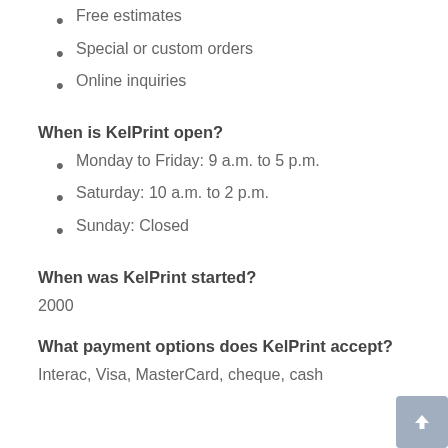Free estimates
Special or custom orders
Online inquiries
When is KelPrint open?
Monday to Friday: 9 a.m. to 5 p.m.
Saturday: 10 a.m. to 2 p.m.
Sunday: Closed
When was KelPrint started?
2000
What payment options does KelPrint accept?
Interac, Visa, MasterCard, cheque, cash